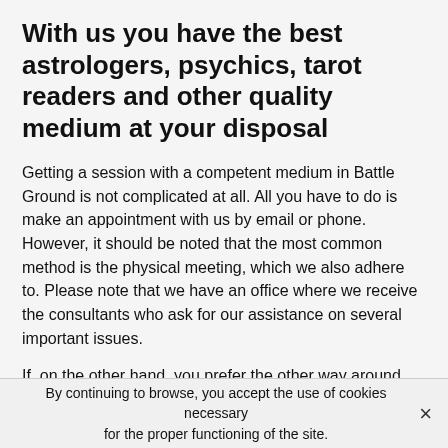With us you have the best astrologers, psychics, tarot readers and other quality medium at your disposal
Getting a session with a competent medium in Battle Ground is not complicated at all. All you have to do is make an appointment with us by email or phone. However, it should be noted that the most common method is the physical meeting, which we also adhere to. Please note that we have an office where we receive the consultants who ask for our assistance on several important issues.
If, on the other hand, you prefer the other way around because you may not be able to do so, we can also come to your home. We also have the possibility to communicate with you by chat and you can even benefit from our
By continuing to browse, you accept the use of cookies necessary for the proper functioning of the site.